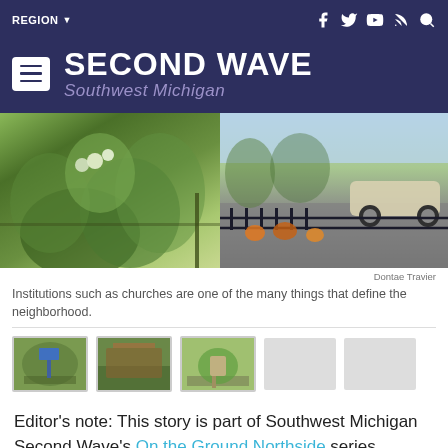REGION | Second Wave Southwest Michigan
[Figure (photo): Two-panel photo: left side shows green leafy plants/flowers near a fence; right side shows a street with a car and an iron fence with orange flowers]
Dontae Travier
Institutions such as churches are one of the many things that define the neighborhood.
[Figure (photo): Thumbnail strip of 3 visible photos from the article gallery plus 2 ghost placeholders]
Editor's note: This story is part of Southwest Michigan Second Wave's On the Ground Northside series.